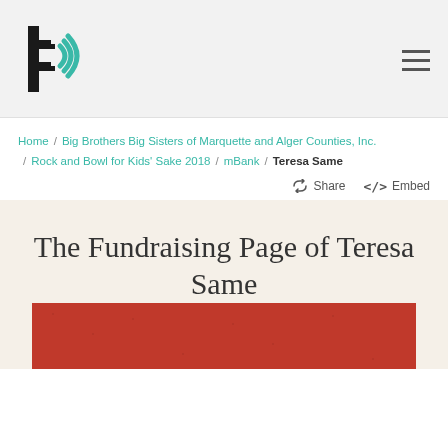[Figure (logo): Big Brothers Big Sisters stylized 'b' logo with wifi-style arcs, dark lines on white background]
Home / Big Brothers Big Sisters of Marquette and Alger Counties, Inc. / Rock and Bowl for Kids' Sake 2018 / mBank / Teresa Same
Share   </> Embed
The Fundraising Page of Teresa Same
[Figure (other): Red textured banner with large white bold text reading 'ROCK AND']